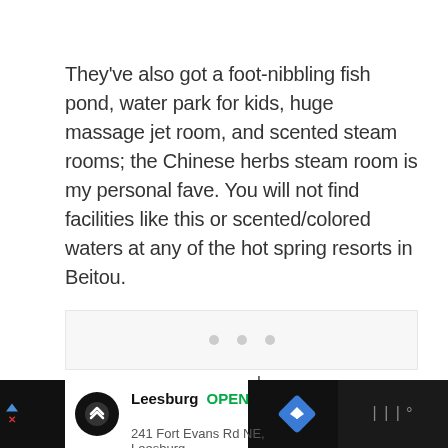They've also got a foot-nibbling fish pond, water park for kids, huge massage jet room, and scented steam rooms; the Chinese herbs steam room is my personal fave. You will not find facilities like this or scented/colored waters at any of the hot spring resorts in Beitou.
[Figure (other): Image placeholder with three grey dots indicating a loading or carousel state]
Leesburg OPEN 10AM–7PM 241 Fort Evans Rd NE, Leesburg